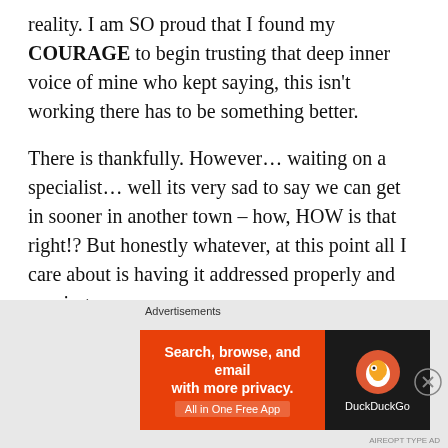reality. I am SO proud that I found my COURAGE to begin trusting that deep inner voice of mine who kept saying, this isn't working there has to be something better.
There is thankfully. However... waiting on a specialist... well its very sad to say we can get in sooner in another town – how, HOW is that right!? But honestly whatever, at this point all I care about is having it addressed properly and moving on.
We are still VERY much in this Lions Gate energy... I am embracing this and I know, this is happening
[Figure (screenshot): DuckDuckGo advertisement banner: orange background with text 'Search, browse, and email with more privacy. All in One Free App' and DuckDuckGo logo on dark background.]